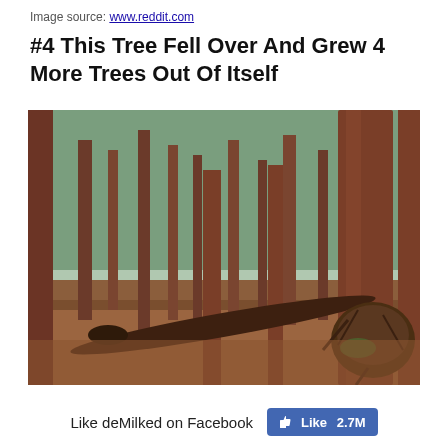Image source: www.reddit.com
#4 This Tree Fell Over And Grew 4 More Trees Out Of Itself
[Figure (photo): A forest scene showing tall redwood trees with reddish-brown bark. A fallen tree trunk lies on the ground covered with brown leaf litter. The fallen tree has a large exposed root ball visible on the right side. Multiple tall trees rise in the background.]
Like deMilked on Facebook  Like 2.7M